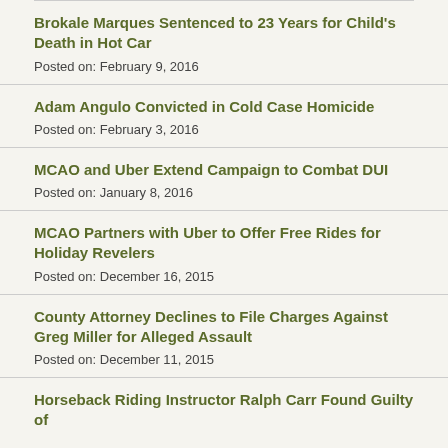Brokale Marques Sentenced to 23 Years for Child's Death in Hot Car
Posted on: February 9, 2016
Adam Angulo Convicted in Cold Case Homicide
Posted on: February 3, 2016
MCAO and Uber Extend Campaign to Combat DUI
Posted on: January 8, 2016
MCAO Partners with Uber to Offer Free Rides for Holiday Revelers
Posted on: December 16, 2015
County Attorney Declines to File Charges Against Greg Miller for Alleged Assault
Posted on: December 11, 2015
Horseback Riding Instructor Ralph Carr Found Guilty of Sexual Abuse